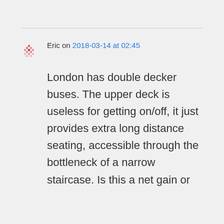Eric on 2018-03-14 at 02:45
London has double decker buses. The upper deck is useless for getting on/off, it just provides extra long distance seating, accessible through the bottleneck of a narrow staircase. Is this a net gain or